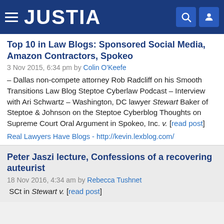JUSTIA
Top 10 in Law Blogs: Sponsored Social Media, Amazon Contractors, Spokeo
3 Nov 2015, 6:34 pm by Colin O'Keefe
– Dallas non-compete attorney Rob Radcliff on his Smooth Transitions Law Blog Steptoe Cyberlaw Podcast – Interview with Ari Schwartz – Washington, DC lawyer Stewart Baker of Steptoe & Johnson on the Steptoe Cyberblog Thoughts on Supreme Court Oral Argument in Spokeo, Inc. v. [read post]
Real Lawyers Have Blogs - http://kevin.lexblog.com/
Peter Jaszi lecture, Confessions of a recovering auteurist
18 Nov 2016, 4:34 am by Rebecca Tushnet
SCt in Stewart v. [read post]